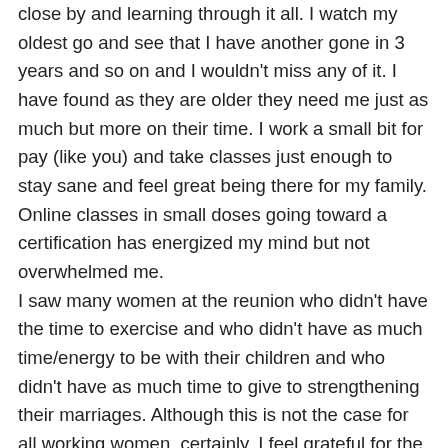close by and learning through it all. I watch my oldest go and see that I have another gone in 3 years and so on and I wouldn't miss any of it. I have found as they are older they need me just as much but more on their time. I work a small bit for pay (like you) and take classes just enough to stay sane and feel great being there for my family. Online classes in small doses going toward a certification has energized my mind but not overwhelmed me. I saw many women at the reunion who didn't have the time to exercise and who didn't have as much time/energy to be with their children and who didn't have as much time to give to strengthening their marriages. Although this is not the case for all working women, certainly, I feel grateful for the decisions I have made. I am grateful for my opportunities to add tools to my toolbox in a part time way and my ability to not have to work more for pay. (although it isn't without sacrifice) I expect that all these tools will create a future for me that is productive and